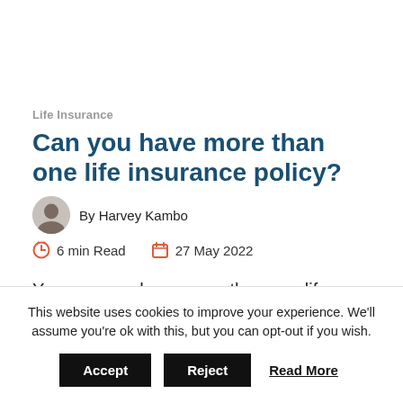Life Insurance
Can you have more than one life insurance policy?
By Harvey Kambo
6 min Read   27 May 2022
Yes, you can have more than one life insurance policy. In fact, there are a number of scenarios for which a person would be
This website uses cookies to improve your experience. We'll assume you're ok with this, but you can opt-out if you wish. Accept Reject Read More